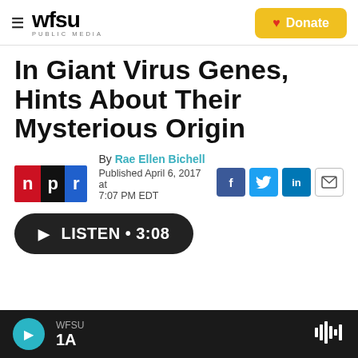WFSU PUBLIC MEDIA — Donate
In Giant Virus Genes, Hints About Their Mysterious Origin
By Rae Ellen Bichell
Published April 6, 2017 at 7:07 PM EDT
[Figure (logo): NPR logo with n in red, p in black, r in blue]
[Figure (other): Social share icons: Facebook, Twitter, LinkedIn, Email]
LISTEN • 3:08
WFSU 1A — player bar with play button and audio waveform icon